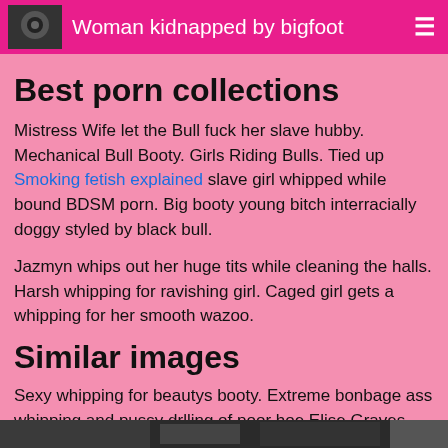Woman kidnapped by bigfoot
Best porn collections
Mistress Wife let the Bull fuck her slave hubby. Mechanical Bull Booty. Girls Riding Bulls. Tied up Smoking fetish explained slave girl whipped while bound BDSM porn. Big booty young bitch interracially doggy styled by black bull.
Jazmyn whips out her huge tits while cleaning the halls. Harsh whipping for ravishing girl. Caged girl gets a whipping for her smooth wazoo.
Similar images
Sexy whipping for beautys booty. Extreme bonbage ass whipping and pussy drlling of poor hoe Elise Graves. Blonde and Bull. Chained Whipped And Toyed Blonde.
[Figure (photo): Partial image visible at bottom of page]